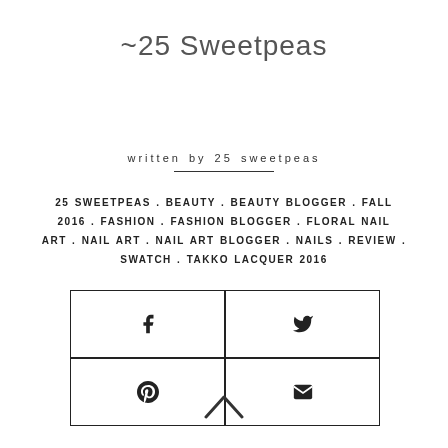~25 Sweetpeas
written by 25 sweetpeas
25 SWEETPEAS . BEAUTY . BEAUTY BLOGGER . FALL 2016 . FASHION . FASHION BLOGGER . FLORAL NAIL ART . NAIL ART . NAIL ART BLOGGER . NAILS . REVIEW . SWATCH . TAKKO LACQUER 2016
[Figure (other): Social share buttons grid with Facebook, Twitter, Pinterest, and Email icons in a 2x2 grid of outlined rectangles]
[Figure (other): Up arrow chevron icon for scroll to top]